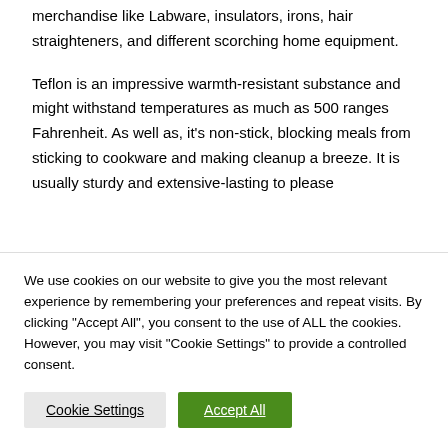merchandise like Labware, insulators, irons, hair straighteners, and different scorching home equipment.
Teflon is an impressive warmth-resistant substance and might withstand temperatures as much as 500 ranges Fahrenheit. As well as, it's non-stick, blocking meals from sticking to cookware and making cleanup a breeze. It is usually sturdy and extensive-lasting to please
We use cookies on our website to give you the most relevant experience by remembering your preferences and repeat visits. By clicking "Accept All", you consent to the use of ALL the cookies. However, you may visit "Cookie Settings" to provide a controlled consent.